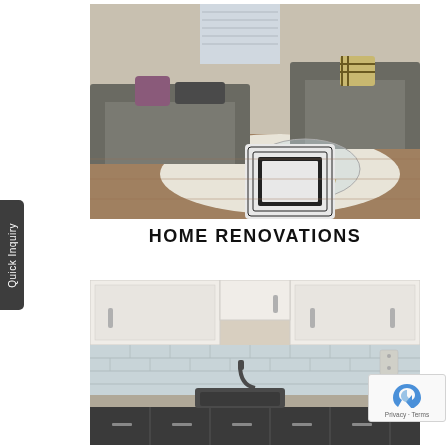[Figure (photo): Interior living room with gray sofas, patterned accent chair, glass coffee table on white shag rug, and wood-look flooring]
HOME RENOVATIONS
[Figure (photo): Modern kitchen with white upper cabinets, subway tile backsplash, dark sink, and gray countertops]
Quick Inquiry
Privacy · Terms